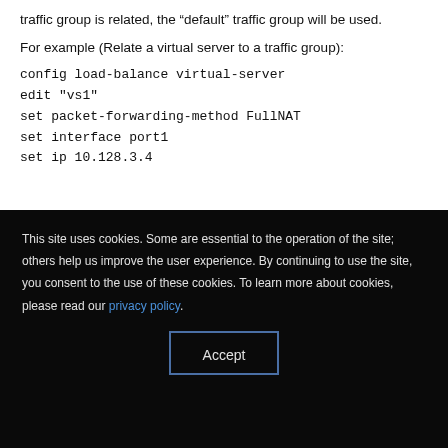traffic group is related, the “default” traffic group will be used.
For example (Relate a virtual server to a traffic group):
config load-balance virtual-server
edit "vs1"
set packet-forwarding-method FullNAT
set interface port1
set ip 10.128.3.4
This site uses cookies. Some are essential to the operation of the site; others help us improve the user experience. By continuing to use the site, you consent to the use of these cookies. To learn more about cookies, please read our privacy policy.
Accept